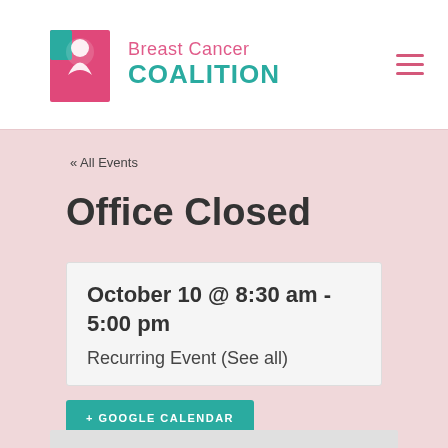[Figure (logo): Breast Cancer Coalition logo with pink ribbon icon, pink 'Breast Cancer' text and teal 'COALITION' text]
« All Events
Office Closed
| October 10 @ 8:30 am - 5:00 pm |
| Recurring Event (See all) |
+ GOOGLE CALENDAR